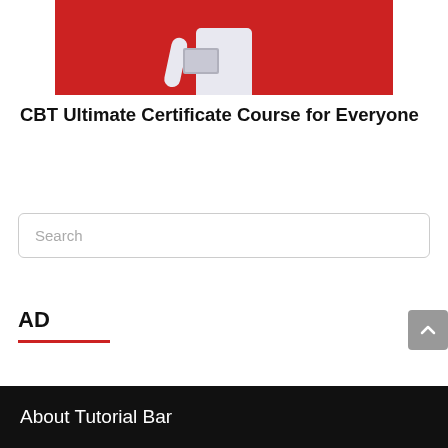[Figure (photo): Person in white clothing holding a tablet/laptop against a red background, cropped to upper torso]
CBT Ultimate Certificate Course for Everyone
Search
AD
About Tutorial Bar